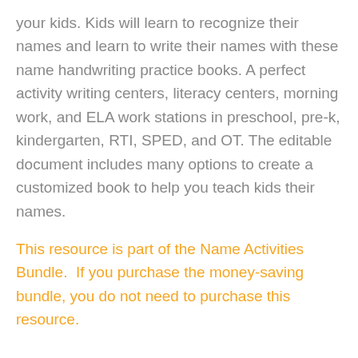your kids. Kids will learn to recognize their names and learn to write their names with these name handwriting practice books. A perfect activity writing centers, literacy centers, morning work, and ELA work stations in preschool, pre-k, kindergarten, RTI, SPED, and OT. The editable document includes many options to create a customized book to help you teach kids their names.
This resource is part of the Name Activities Bundle.  If you purchase the money-saving bundle, you do not need to purchase this resource.